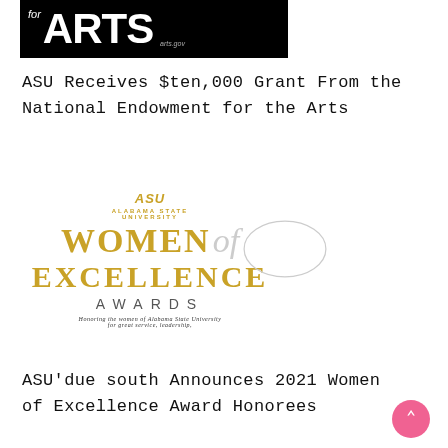[Figure (logo): Black banner logo with 'for ARTS' text in white, with arts.gov watermark]
ASU Receives $ten,000 Grant From the National Endowment for the Arts
[Figure (logo): Alabama State University Women of Excellence Awards logo with gold lettering and script 'of' in gray. Tagline: Honoring the women of Alabama State University for great service, leadership,]
ASU'due south Announces 2021 Women of Excellence Award Honorees